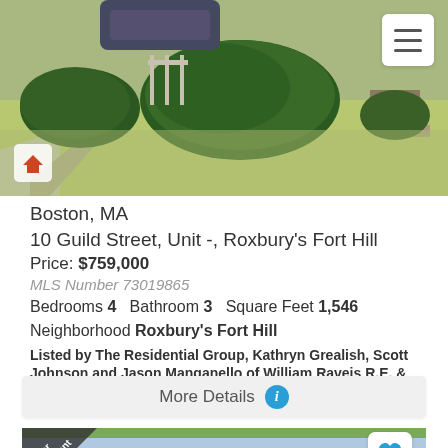[Figure (photo): Exterior photo of property at 10 Guild Street showing green shrubs, lawn, and driveway]
Boston, MA
10 Guild Street, Unit -, Roxbury's Fort Hill
Price: $759,000
MLS Number 73019865
Bedrooms 4   Bathroom 3   Square Feet 1,546
Neighborhood Roxbury's Fort Hill
Listed by The Residential Group, Kathryn Grealish, Scott Johnson and Jason Manganello of William Raveis R.E. & Home Services
More Details
[Figure (photo): Second property listing photo showing building exterior with trees and sky, with Under Agreement badge]